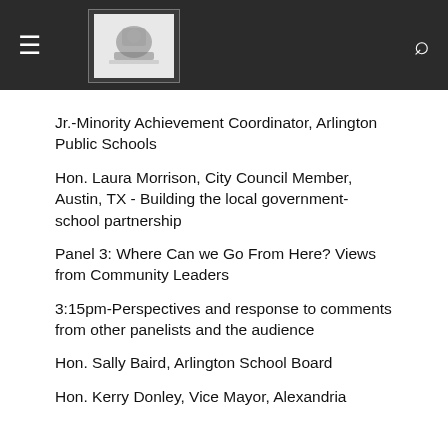Navigation bar with hamburger menu, logo, and search icon
Jr.-Minority Achievement Coordinator, Arlington Public Schools
Hon. Laura Morrison, City Council Member, Austin, TX - Building the local government-school partnership
Panel 3: Where Can we Go From Here? Views from Community Leaders
3:15pm-Perspectives and response to comments from other panelists and the audience
Hon. Sally Baird, Arlington School Board
Hon. Kerry Donley, Vice Mayor, Alexandria